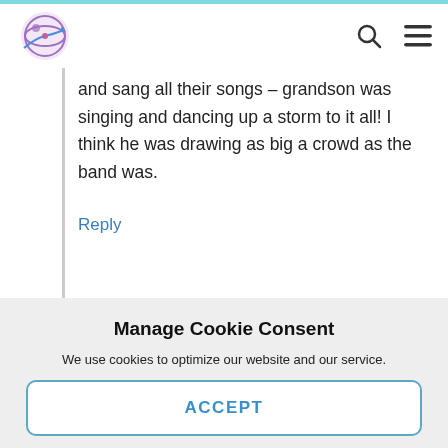Navigation bar with logo, search icon, and menu icon
and sang all their songs – grandson was singing and dancing up a storm to it all! I think he was drawing as big a crowd as the band was.
Reply
Manage Cookie Consent
We use cookies to optimize our website and our service.
ACCEPT
Cookie Policy   Privacy Statement